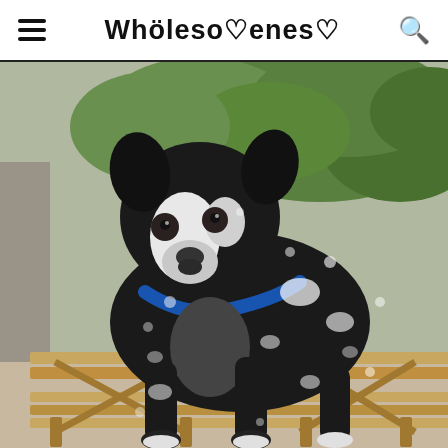WHOLESOMENESS
[Figure (photo): A black and white dog with vitiligo (white spots on black fur) wearing a blue collar, standing in front of a wooden bench outdoors with green bushes in the background.]